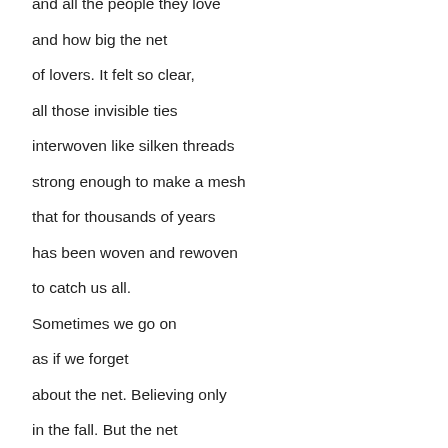and all the people they love
and how big the net
of lovers. It felt so clear,
all those invisible ties
interwoven like silken threads
strong enough to make a mesh
that for thousands of years
has been woven and rewoven
to catch us all.
Sometimes we go on
as if we forget
about the net. Believing only
in the fall. But the net
is just as real. Every day,
with every small kindness,
with every generous act,
we strengthen it. Notice